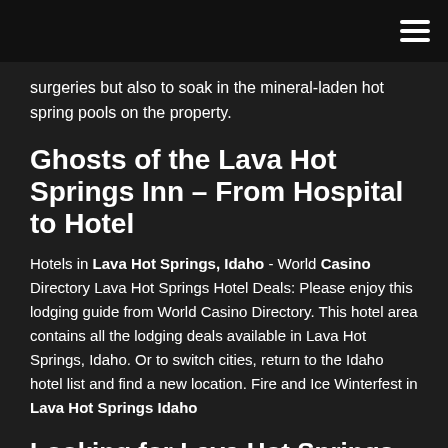≡
surgeries but also to soak in the mineral-laden hot spring pools on the property.
Ghosts of the Lava Hot Springs Inn – From Hospital to Hotel
Hotels in Lava Hot Springs, Idaho - World Casino Directory Lava Hot Springs Hotel Deals: Please enjoy this lodging guide from World Casino Directory. This hotel area contains all the lodging deals available in Lava Hot Springs, Idaho. Or to switch cities, return to the Idaho hotel list and find a new location. Fire and Ice Winterfest in Lava Hot Springs Idaho
Looking for Lava Hot Springs casino